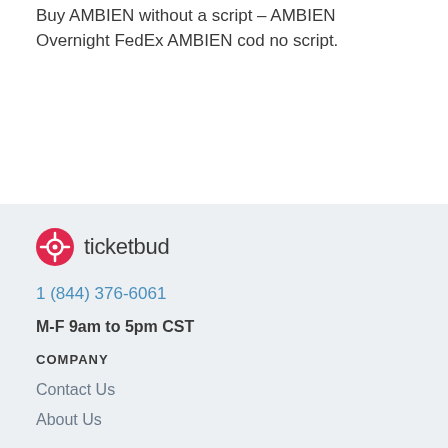Buy AMBIEN without a script – AMBIEN Overnight FedEx AMBIEN cod no script.
ticketbud
1 (844) 376-6061
M-F 9am to 5pm CST
COMPANY
Contact Us
About Us